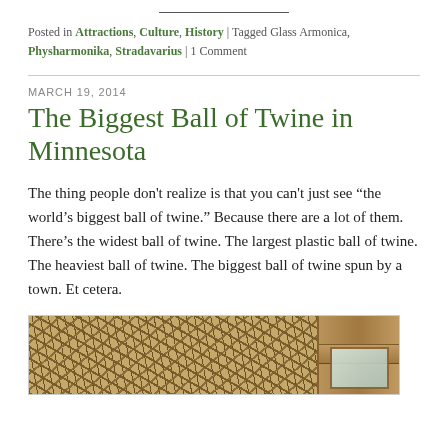Posted in Attractions, Culture, History | Tagged Glass Armonica, Physharmonika, Stradavarius | 1 Comment
MARCH 19, 2014
The Biggest Ball of Twine in Minnesota
The thing people don't realize is that you can't just see “the world’s biggest ball of twine.” Because there are a lot of them. There’s the widest ball of twine. The largest plastic ball of twine. The heaviest ball of twine. The biggest ball of twine spun by a town. Et cetera.
[Figure (photo): Close-up photo of a large ball of twine with wooden beam structure and window visible in the background]